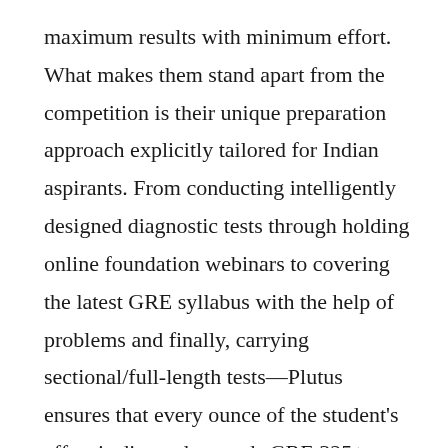maximum results with minimum effort. What makes them stand apart from the competition is their unique preparation approach explicitly tailored for Indian aspirants. From conducting intelligently designed diagnostic tests through holding online foundation webinars to covering the latest GRE syllabus with the help of problems and finally, carrying sectional/full-length tests—Plutus ensures that every ounce of the student's effort is directed towards GRE 325+. With constant access to expert faculty and an unlimited number of doubt-clearing sessions, it is a small wonder that it is the only GRE coaching company with having two of its students scoring a perfect 340.